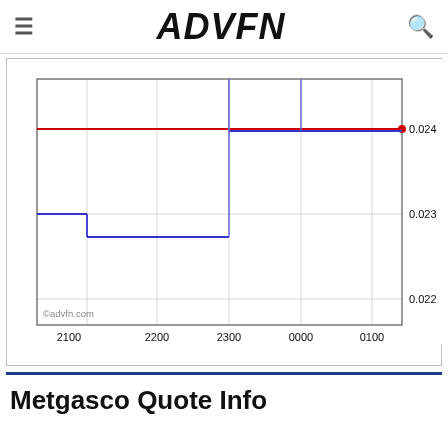ADVFN
[Figure (continuous-plot): ADVFN intraday line chart for Metgasco showing price around 0.023-0.024 range. Red horizontal line at 0.024 (ask/last price). Blue step-line showing bid price starting at 0.023, dropping around 2100, then spikes up to top of chart near 2300 and 0000. Y-axis labels: 0.024, 0.023, 0.022. X-axis labels: 2100, 2200, 2300, 0000, 0100. Watermark: ©advfn.com]
Metgasco Quote Info